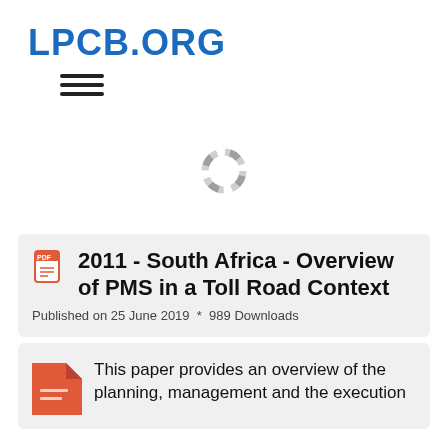LPCB.ORG
[Figure (other): Hamburger menu icon (three horizontal lines)]
[Figure (other): Loading spinner icon (circular grey dashed ring)]
2011 - South Africa - Overview of PMS in a Toll Road Context
Published on 25 June 2019  *  989 Downloads
[Figure (other): Red document/file icon]
This paper provides an overview of the planning, management and the execution